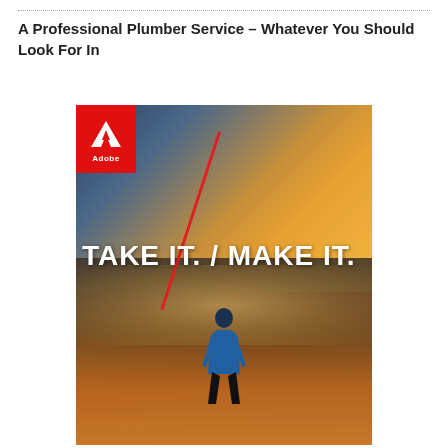A Professional Plumber Service – Whatever You Should Look For In
[Figure (photo): Adobe advertisement image showing a person standing on a mountain or cliff edge overlooking clouds and a sunset sky. The Adobe logo appears in a red square in the top-left corner. Bold white text reads 'TAKE IT. / MAKE IT.' with a red diagonal slash between the two phrases.]